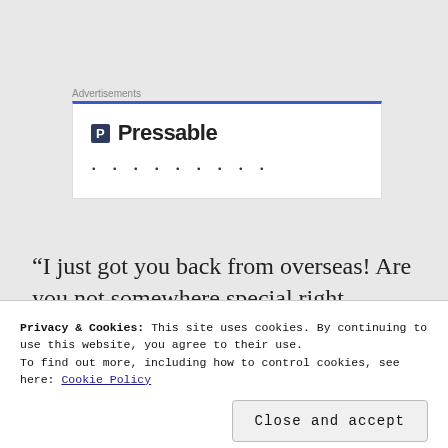[Figure (other): Advertisement box with blue top border showing Pressable logo (shield icon with P) and company name 'Pressable' followed by a row of dots]
“I just got you back from overseas! Are you not somewhere special right now?!” Olivia wondered loudly.
“You mean, Tennessee?”
and all that it implied. He heard the tires screech as she
Privacy & Cookies: This site uses cookies. By continuing to use this website, you agree to their use.
To find out more, including how to control cookies, see here: Cookie Policy
Close and accept